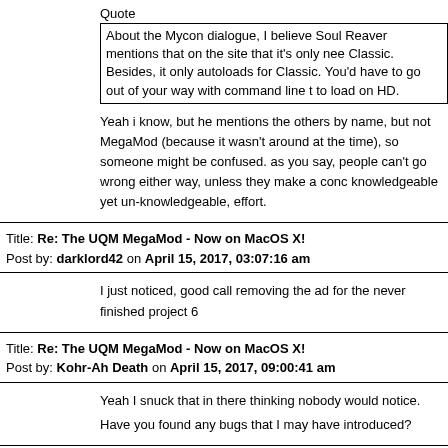Quote
About the Mycon dialogue, I believe Soul Reaver mentions that on the site that it's only nee Classic.
Besides, it only autoloads for Classic. You'd have to go out of your way with command line t to load on HD.
Yeah i know, but he mentions the others by name, but not MegaMod (because it wasn't around at the time), so someone might be confused. as you say, people can't go wrong either way, unless they make a conc knowledgeable yet un-knowledgeable, effort.
Title: Re: The UQM MegaMod - Now on MacOS X!
Post by: darklord42 on April 15, 2017, 03:07:16 am
I just noticed, good call removing the ad for the never finished project 6
Title: Re: The UQM MegaMod - Now on MacOS X!
Post by: Kohr-Ah Death on April 15, 2017, 09:00:41 am
Yeah I snuck that in there thinking nobody would notice.
Have you found any bugs that I may have introduced?
Title: Re: The UQM MegaMod - Now on MacOS X!
Post by: darklord42 on April 15, 2017, 04:28:59 pm
Oh shoot.....we forgot to add the red eyes to the robots in the settings s To be honest, I don't know if the red eyes work with the Weak in Good